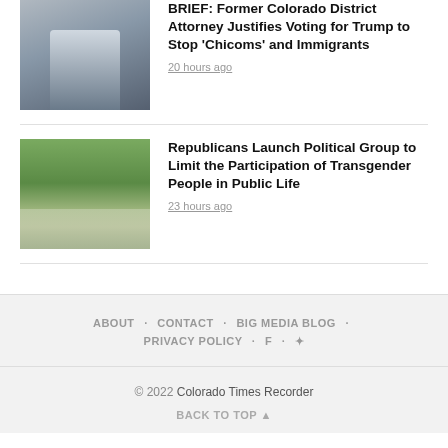[Figure (photo): Photo of a man in a suit with a red tie, partial view]
BRIEF: Former Colorado District Attorney Justifies Voting for Trump to Stop 'Chicoms' and Immigrants
20 hours ago
[Figure (photo): Group photo of several people outdoors holding a large check, green trees in background]
Republicans Launch Political Group to Limit the Participation of Transgender People in Public Life
23 hours ago
ABOUT · CONTACT · BIG MEDIA BLOG · PRIVACY POLICY · f · ✦
© 2022 Colorado Times Recorder
BACK TO TOP ▲